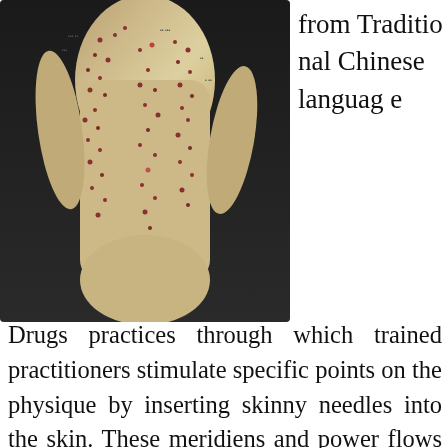[Figure (photo): Acupuncture model figure showing a human torso/body with acupuncture points marked, beige/ivory colored model with red and brown dots indicating meridian points]
from Traditional Chinese language Drugs practices through which trained practitioners stimulate specific points on the physique by inserting skinny needles into the skin. These meridiens and power flows are accessible by means of 350 acupuncture factors within the body. Noh H, Kwon S, Cho SY, et al. Effectiveness and security of acupuncture within the treatment of Parkinson's illness: A systematic evaluation and meta-evaluation of randomized controlled trials. If you are having issue managing ache or